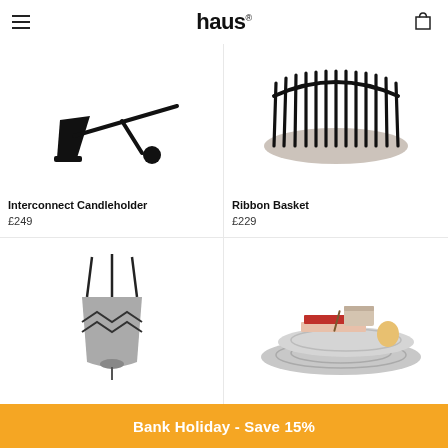haus
[Figure (photo): Interconnect Candleholder - black wall-mounted arm lamp with ball counterweight]
Interconnect Candleholder
£249
[Figure (photo): Ribbon Basket - black wire basket with comb-like vertical slats]
Ribbon Basket
£229
[Figure (photo): Grey hanging planter with black rope straps and geometric pattern]
[Figure (photo): White rippled tray set with books and an egg displayed on top]
Bank Holiday - Save 15%